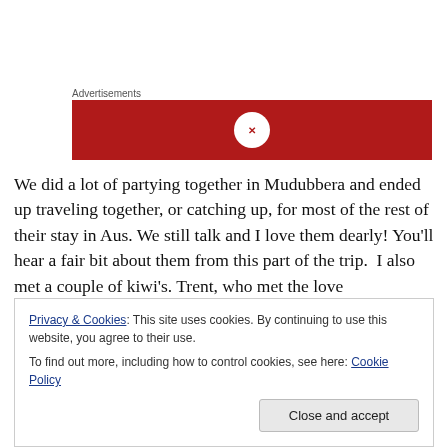Advertisements
[Figure (other): Red advertisement banner with a circular logo/icon in the center]
We did a lot of partying together in Mudubbera and ended up traveling together, or catching up, for most of the rest of their stay in Aus. We still talk and I love them dearly! You'll hear a fair bit about them from this part of the trip.  I also met a couple of kiwi's. Trent, who met the love
Privacy & Cookies: This site uses cookies. By continuing to use this website, you agree to their use.
To find out more, including how to control cookies, see here: Cookie Policy
Close and accept
tenting it in another park, worked at the same packing